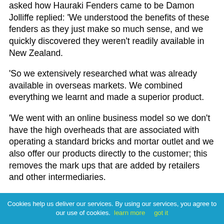asked how Hauraki Fenders came to be Damon Jolliffe replied: 'We understood the benefits of these fenders as they just make so much sense, and we quickly discovered they weren't readily available in New Zealand.
'So we extensively researched what was already available in overseas markets. We combined everything we learnt and made a superior product.
'We went with an online business model so we don't have the high overheads that are associated with operating a standard bricks and mortar outlet and we also offer our products directly to the customer; this removes the mark ups that are added by retailers and other intermediaries.
'Combining these three elements has created an unbeatable formula as the customer gets a premium product for a lower cost.'
Hauraki Fenders have been very well received.
Cookies help us deliver our services. By using our services, you agree to our use of cookies. learn more   got it